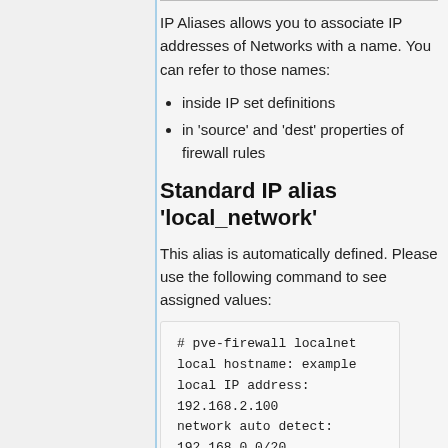IP Aliases allows you to associate IP addresses of Networks with a name. You can refer to those names:
inside IP set definitions
in 'source' and 'dest' properties of firewall rules
Standard IP alias 'local_network'
This alias is automatically defined. Please use the following command to see assigned values:
# pve-firewall localnet
local hostname: example
local IP address: 192.168.2.100
network auto detect: 192.168.0.0/20
using detected